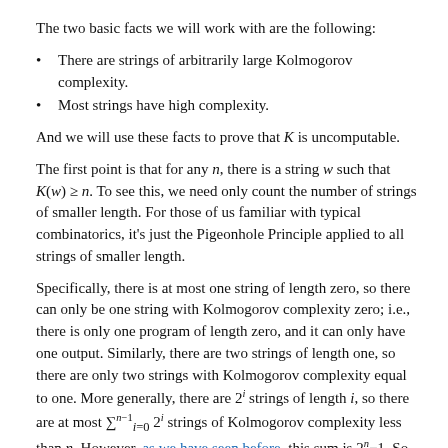The two basic facts we will work with are the following:
There are strings of arbitrarily large Kolmogorov complexity.
Most strings have high complexity.
And we will use these facts to prove that K is uncomputable.
The first point is that for any n, there is a string w such that K(w) ≥ n. To see this, we need only count the number of strings of smaller length. For those of us familiar with typical combinatorics, it's just the Pigeonhole Principle applied to all strings of smaller length.
Specifically, there is at most one string of length zero, so there can only be one string with Kolmogorov complexity zero; i.e., there is only one program of length zero, and it can only have one output. Similarly, there are two strings of length one, so there are only two strings with Kolmogorov complexity equal to one. More generally, there are 2^i strings of length i, so there are at most ∑_{i=0}^{n-1} 2^i strings of Kolmogorov complexity less than n. However, as we have seen before, this sum is 2^n−1. So there are too many strings